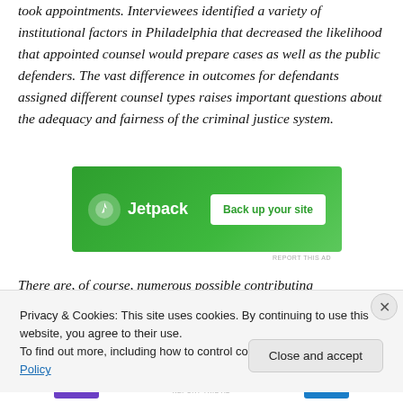took appointments. Interviewees identified a variety of institutional factors in Philadelphia that decreased the likelihood that appointed counsel would prepare cases as well as the public defenders. The vast difference in outcomes for defendants assigned different counsel types raises important questions about the adequacy and fairness of the criminal justice system.
[Figure (other): Jetpack advertisement banner with green background showing Jetpack logo and 'Back up your site' button]
There are, of course, numerous possible contributing
Privacy & Cookies: This site uses cookies. By continuing to use this website, you agree to their use.
To find out more, including how to control cookies, see here: Cookie Policy
Close and accept